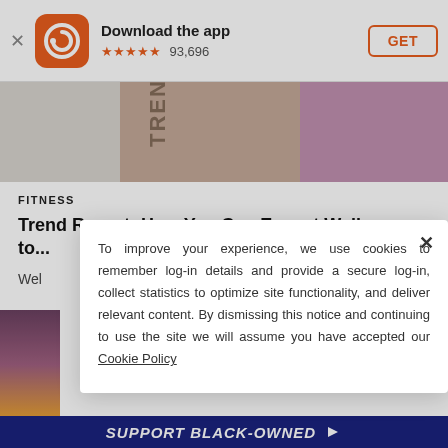[Figure (screenshot): App download banner with orange app icon (circular arrow logo), 'Download the app' title, 5 orange stars and 93,696 rating, and orange GET button]
[Figure (photo): Hero/banner image showing fitness and beauty products with text 'TRENDS' visible]
FITNESS
Trend Report: How You Can Expect Wellness to...
Wel
To improve your experience, we use cookies to remember log-in details and provide a secure log-in, collect statistics to optimize site functionality, and deliver relevant content. By dismissing this notice and continuing to use the site we will assume you have accepted our Cookie Policy
[Figure (photo): Partial article image on left side showing purple and orange tones]
SUPPORT BLACK-OWNED